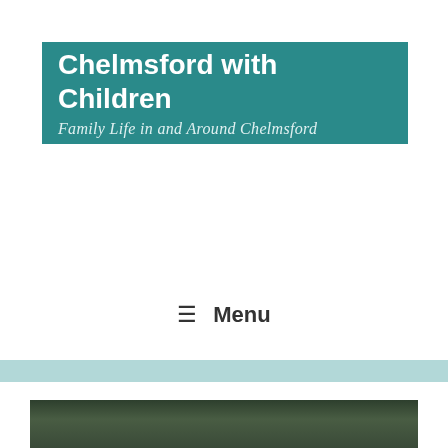[Figure (logo): Teal banner logo reading 'Chelmsford with Children' in bold white text with subtitle 'Family Life in and Around Chelmsford' in italic cursive white text below]
≡  Menu
[Figure (photo): Bottom strip showing a dark green outdoor photo, partially visible, appears to be children or people outdoors among foliage]